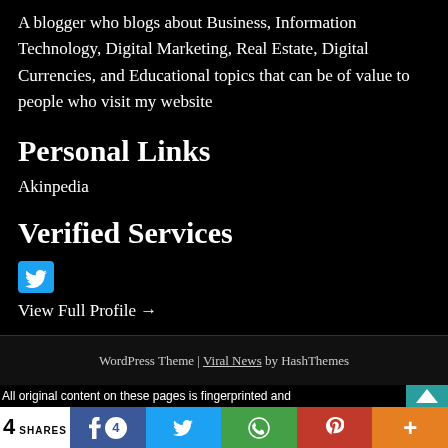A blogger who blogs about Business, Information Technology, Digital Marketing, Real Estate, Digital Currencies, and Educational topics that can be of value to people who visit my website
Personal Links
Akinpedia
Verified Services
[Figure (logo): Twitter bird icon in blue rounded rectangle]
View Full Profile →
WordPress Theme | Viral News by HashThemes
All original content on these pages is fingerprinted and
4 SHARES
[Figure (infographic): Social share bar with Facebook, Twitter count 4, WhatsApp, Pinterest, and more buttons]